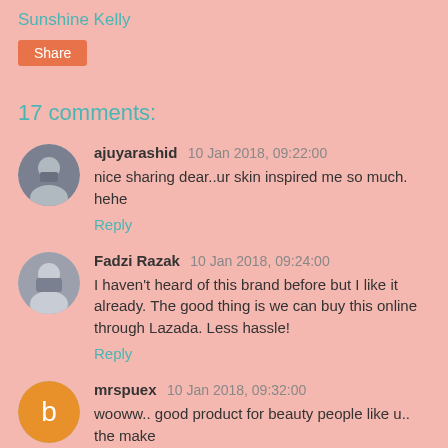Sunshine Kelly
Share
17 comments:
ajuyarashid  10 Jan 2018, 09:22:00
nice sharing dear..ur skin inspired me so much. hehe
Reply
Fadzi Razak  10 Jan 2018, 09:24:00
I haven't heard of this brand before but I like it already. The good thing is we can buy this online through Lazada. Less hassle!
Reply
mrspuex  10 Jan 2018, 09:32:00
wooww.. good product for beauty people like u.. the make